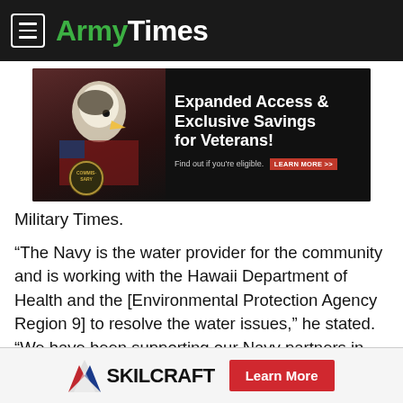ArmyTimes
[Figure (infographic): Advertisement banner: Eagle with American flag and Commissary badge on left; bold white text on dark background reading 'Expanded Access & Exclusive Savings for Veterans! Find out if you're eligible.' with a red LEARN MORE button on right.]
Military Times.
“The Navy is the water provider for the community and is working with the Hawaii Department of Health and the [Environmental Protection Agency Region 9] to resolve the water issues,” he stated. “We have been supporting our Navy partners in their efforts to resolve this situation.”
[Figure (logo): SKILCRAFT logo with diagonal red/white/blue chevron mark and 'Learn More' red button]